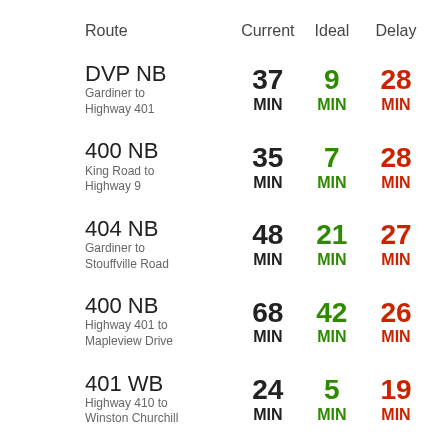| Route | Current | Ideal | Delay |
| --- | --- | --- | --- |
| DVP NB
Gardiner to Highway 401 | 37 MIN | 9 MIN | 28 MIN |
| 400 NB
King Road to Highway 9 | 35 MIN | 7 MIN | 28 MIN |
| 404 NB
Gardiner to Stouffville Road | 48 MIN | 21 MIN | 27 MIN |
| 400 NB
Highway 401 to Mapleview Drive | 68 MIN | 42 MIN | 26 MIN |
| 401 WB
Highway 410 to Winston Churchill | 24 MIN | 5 MIN | 19 MIN |